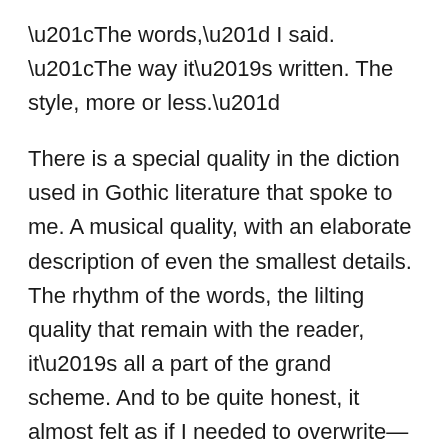“The words,” I said. “The way it’s written. The style, more or less.”
There is a special quality in the diction used in Gothic literature that spoke to me. A musical quality, with an elaborate description of even the smallest details. The rhythm of the words, the lilting quality that remain with the reader, it’s all a part of the grand scheme. And to be quite honest, it almost felt as if I needed to overwrite—to over describe. To use words that, I must admit, I had to double-check in the dictionary just to be sure I had the correct definition in mind. And I thought back to my days in journalism school, when they took a red pen to every phrase, every word, and every letter that wasn’t essential to telling the most simplistic, concise story possible.
“Kill your babies,” my old professor would say. He was a